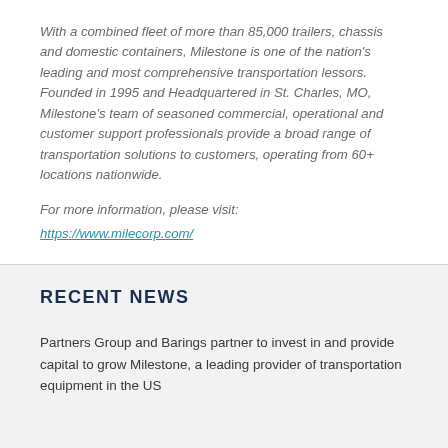With a combined fleet of more than 85,000 trailers, chassis and domestic containers, Milestone is one of the nation's leading and most comprehensive transportation lessors. Founded in 1995 and Headquartered in St. Charles, MO, Milestone's team of seasoned commercial, operational and customer support professionals provide a broad range of transportation solutions to customers, operating from 60+ locations nationwide.
For more information, please visit: https://www.milecorp.com/
RECENT NEWS
Partners Group and Barings partner to invest in and provide capital to grow Milestone, a leading provider of transportation equipment in the US